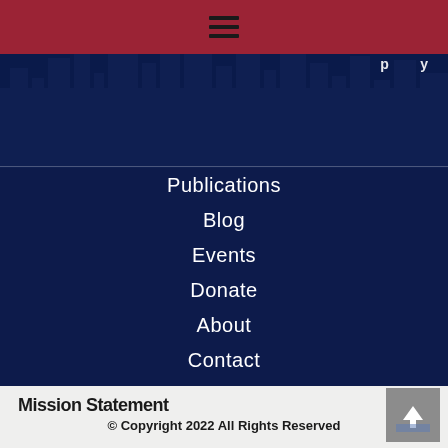[Figure (screenshot): Dark navy blue hero section with city skyline silhouette in background and partial white text visible in upper right]
Publications
Blog
Events
Donate
About
Contact
Mission Statement
© Copyright 2022 All Rights Reserved